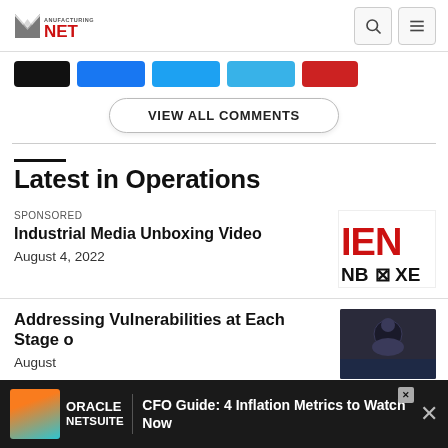Manufacturing.net
[Figure (screenshot): Social share buttons row: black, blue, teal, light blue, red buttons]
VIEW ALL COMMENTS
Latest in Operations
SPONSORED
Industrial Media Unboxing Video
August 4, 2022
[Figure (logo): Industrial Media Unboxing Video thumbnail - red letters IEN NBOXED logo]
Addressing Vulnerabilities at Each Stage o...
August...
[Figure (photo): Dark cybersecurity themed thumbnail image]
ORACLE NETSUITE | CFO Guide: 4 Inflation Metrics to Watch Now